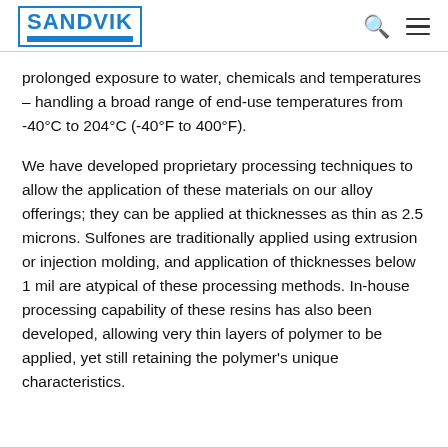SANDVIK
prolonged exposure to water, chemicals and temperatures – handling a broad range of end-use temperatures from -40°C to 204°C (-40°F to 400°F).
We have developed proprietary processing techniques to allow the application of these materials on our alloy offerings; they can be applied at thicknesses as thin as 2.5 microns. Sulfones are traditionally applied using extrusion or injection molding, and application of thicknesses below 1 mil are atypical of these processing methods. In-house processing capability of these resins has also been developed, allowing very thin layers of polymer to be applied, yet still retaining the polymer's unique characteristics.